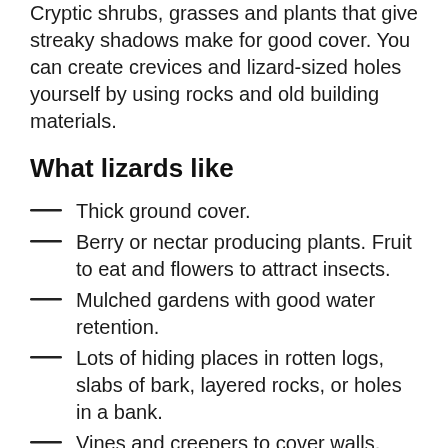Cryptic shrubs, grasses and plants that give streaky shadows make for good cover. You can create crevices and lizard-sized holes yourself by using rocks and old building materials.
What lizards like
Thick ground cover.
Berry or nectar producing plants. Fruit to eat and flowers to attract insects.
Mulched gardens with good water retention.
Lots of hiding places in rotten logs, slabs of bark, layered rocks, or holes in a bank.
Vines and creepers to cover walls, which allows them to move up and down them.
Stone walls with lots of cracks and crevices. In the winter, skinks in cold climates enter into a semi-hibernation, coming out on sunny days.
They will also eat them with insects and...